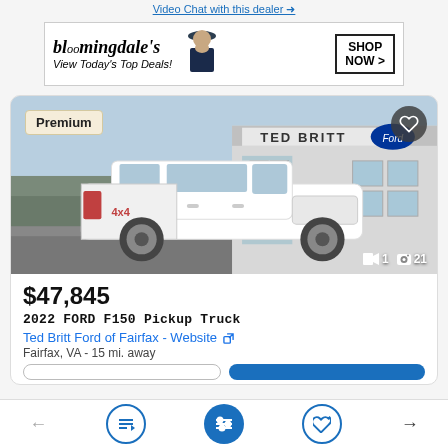Video Chat with this dealer
[Figure (screenshot): Bloomingdale's advertisement banner: 'View Today's Top Deals!' with woman in hat and SHOP NOW button]
[Figure (photo): 2022 Ford F-150 white pickup truck parked in front of Ted Britt Ford dealership. Shows rear three-quarter view with 4x4 badging. Premium badge in top-left, heart/favorite button top-right, media count '1 video, 21 photos' bottom-right.]
$47,845
2022 FORD F150 Pickup Truck
Ted Britt Ford of Fairfax - Website
Fairfax, VA - 15 mi. away
[Figure (screenshot): Bottom navigation bar with back arrow, sort icon, filter icon (filled blue circle), heart icon, and forward arrow]